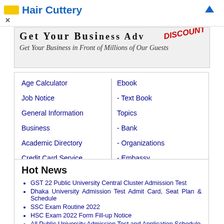[Figure (screenshot): Advertisement bar showing Hair Cuttery logo with yellow block and blue link text, with close X button]
[Figure (screenshot): Banner ad: large bold text partially visible, red DISCOUNT stamp, italic text 'Get Your Business in Front of Millions of Our Guests']
Age Calculator
Job Notice
General Information
Business
Academic Directory
Credit Card Service
Non Govt. Job
Ebook
- Text Book
Topics
- Bank
- Organizations
- Embassy
Contact Us
Hot News
GST 22 Public University Central Cluster Admission Test
Dhaka University Admission Test Admit Card, Seat Plan & Schedule
SSC Exam Routine 2022
HSC Exam 2022 Form Fill-up Notice
All Public University Admission Test and Application Schedule
Government Primary School Assistant Teacher Recruitment